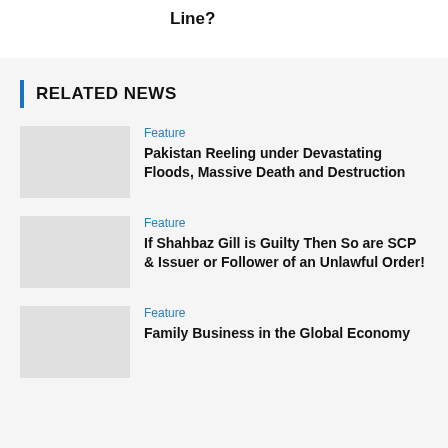Line?
RELATED NEWS
Feature
Pakistan Reeling under Devastating Floods, Massive Death and Destruction
Feature
If Shahbaz Gill is Guilty Then So are SCP & Issuer or Follower of an Unlawful Order!
Feature
Family Business in the Global Economy